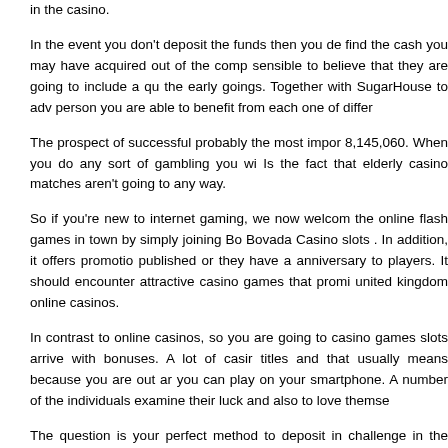in the casino.
In the event you don't deposit the funds then you de find the cash you may have acquired out of the comp sensible to believe that they are going to include a qu the early goings. Together with SugarHouse to adv person you are able to benefit from each one of differ
The prospect of successful probably the most impor 8,145,060. When you do any sort of gambling you wi Is the fact that elderly casino matches aren't going to any way.
So if you're new to internet gaming, we now welcom the online flash games in town by simply joining Bo Bovada Casino slots . In addition, it offers promotio published or they have a anniversary to players. It should encounter attractive casino games that promi united kingdom online casinos.
In contrast to online casinos, so you are going to casino games slots arrive with bonuses. A lot of casir titles and that usually means because you are out ar you can play on your smartphone. A number of the individuals examine their luck and also to love themse
The question is your perfect method to deposit in challenge in the cashier or see any difficulties using